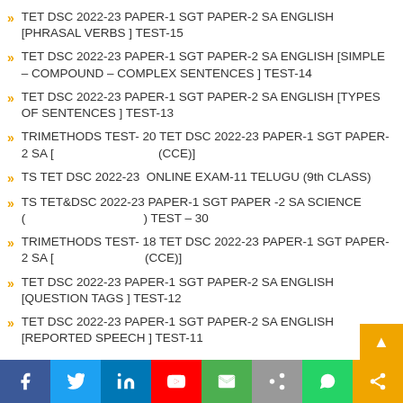TET DSC 2022-23 PAPER-1 SGT PAPER-2 SA ENGLISH [PHRASAL VERBS ] TEST-15
TET DSC 2022-23 PAPER-1 SGT PAPER-2 SA ENGLISH [SIMPLE – COMPOUND – COMPLEX SENTENCES ] TEST-14
TET DSC 2022-23 PAPER-1 SGT PAPER-2 SA ENGLISH [TYPES OF SENTENCES ] TEST-13
TRIMETHODS TEST- 20 TET DSC 2022-23 PAPER-1 SGT PAPER-2 SA  [                                         (CCE)]
TS TET DSC 2022-23  ONLINE EXAM-11 TELUGU (9th CLASS)
TS TET&DSC 2022-23 PAPER-1 SGT PAPER -2 SA SCIENCE (                                              ) TEST – 30
TRIMETHODS TEST- 18 TET DSC 2022-23 PAPER-1 SGT PAPER-2 SA  [                                    (CCE)]
TET DSC 2022-23 PAPER-1 SGT PAPER-2 SA ENGLISH [QUESTION TAGS ] TEST-12
TET DSC 2022-23 PAPER-1 SGT PAPER-2 SA ENGLISH [REPORTED SPEECH ] TEST-11
[Figure (infographic): Social media share bar at bottom with icons: Facebook (blue), Twitter (light blue), LinkedIn (dark blue), YouTube (red), Email (green), Share (grey), WhatsApp (green), More (orange)]